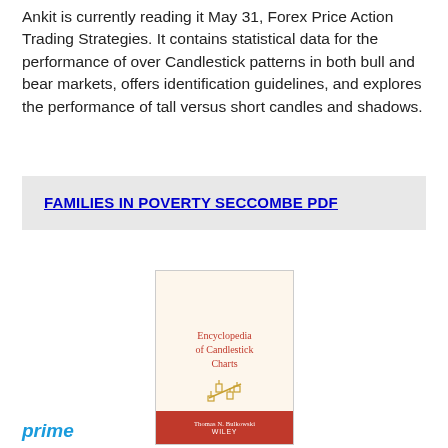Ankit is currently reading it May 31, Forex Price Action Trading Strategies. It contains statistical data for the performance of over Candlestick patterns in both bull and bear markets, offers identification guidelines, and explores the performance of tall versus short candles and shadows.
FAMILIES IN POVERTY SECCOMBE PDF
[Figure (photo): Book cover of 'Encyclopedia of Candlestick Charts' by Thomas N. Bulkowski, published by Wiley. The cover has a cream/beige top section with the title in red text, a golden candlestick chart icon, and a red bottom band with the author name and WILEY publisher logo in white text.]
prime